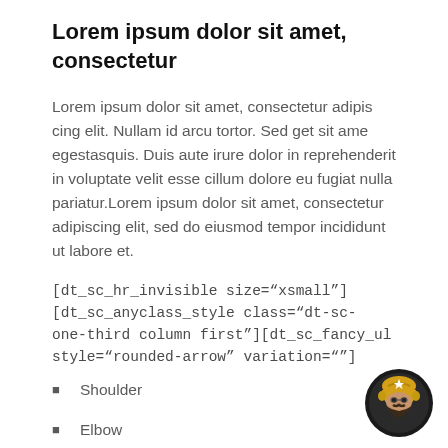Lorem ipsum dolor sit amet, consectetur
Lorem ipsum dolor sit amet, consectetur adipis cing elit. Nullam id arcu tortor. Sed get sit ame egestasquis. Duis aute irure dolor in reprehenderit in voluptate velit esse cillum dolore eu fugiat nulla pariatur.Lorem ipsum dolor sit amet, consectetur adipiscing elit, sed do eiusmod tempor incididunt ut labore et.
[dt_sc_hr_invisible size="xsmall"] [dt_sc_anyclass_style class="dt-sc-one-third column first"][dt_sc_fancy_ul style="rounded-arrow" variation=""]
Shoulder
Elbow
Hand & Wrist
[Figure (logo): Logo showing a bearded man wearing a golden helmet, circular design with black and gold colors]